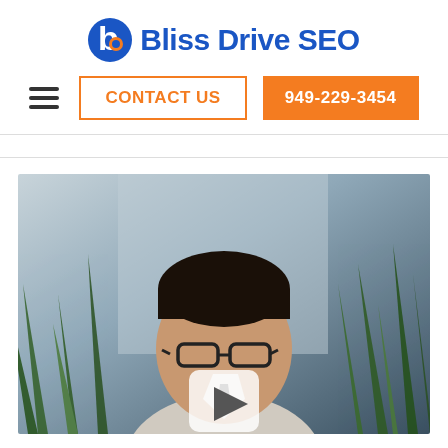[Figure (logo): Bliss Drive SEO logo with blue 'b' icon and orange dot]
[Figure (other): Navigation bar with hamburger menu, orange-outlined CONTACT US button, and orange filled 949-229-3454 phone button]
[Figure (photo): Video thumbnail showing a man wearing glasses in an office with plants, with a white play button overlay in the center]